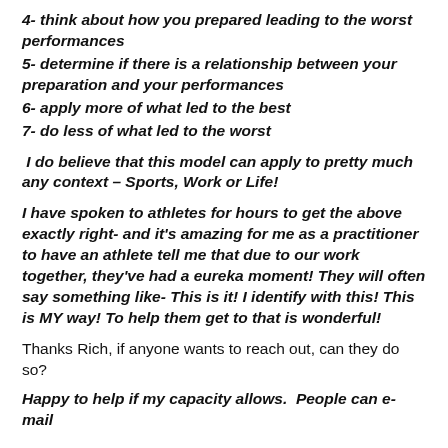4- think about how you prepared leading to the worst performances
5- determine if there is a relationship between your preparation and your performances
6- apply more of what led to the best
7- do less of what led to the worst
I do believe that this model can apply to pretty much any context – Sports, Work or Life!
I have spoken to athletes for hours to get the above exactly right- and it's amazing for me as a practitioner to have an athlete tell me that due to our work together, they've had a eureka moment! They will often say something like- This is it! I identify with this! This is MY way! To help them get to that is wonderful!
Thanks Rich, if anyone wants to reach out, can they do so?
Happy to help if my capacity allows.  People can e-mail